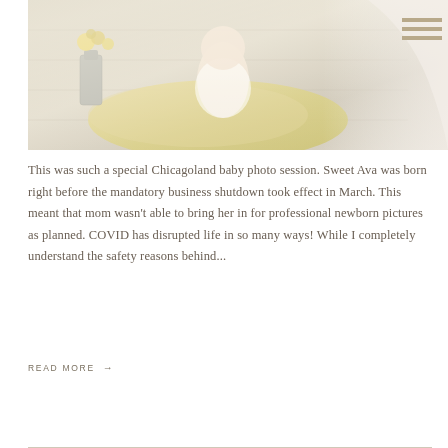[Figure (photo): A baby sitting on a fluffy yellow fur rug on white wooden floor boards, wearing white lace outfit, with yellow flowers in a silver vase in the background, soft natural light, professional studio-style photography]
This was such a special Chicagoland baby photo session. Sweet Ava was born right before the mandatory business shutdown took effect in March. This meant that mom wasn't able to bring her in for professional newborn pictures as planned. COVID has disrupted life in so many ways! While I completely understand the safety reasons behind...
READ MORE →